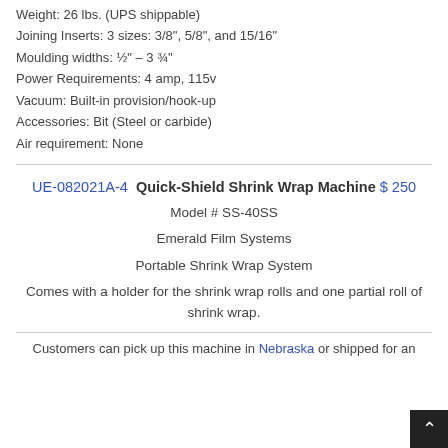Weight: 26 lbs. (UPS shippable)
Joining Inserts: 3 sizes: 3/8", 5/8", and 15/16"
Moulding widths: ½" – 3 ¾"
Power Requirements: 4 amp, 115v
Vacuum: Built-in provision/hook-up
Accessories: Bit (Steel or carbide)
Air requirement: None
UE-082021A-4  Quick-Shield Shrink Wrap Machine  $ 250
Model # SS-40SS
Emerald Film Systems
Portable Shrink Wrap System
Comes with a holder for the shrink wrap rolls and one partial roll of shrink wrap.
Customers can pick up this machine in Nebraska or shipped for an